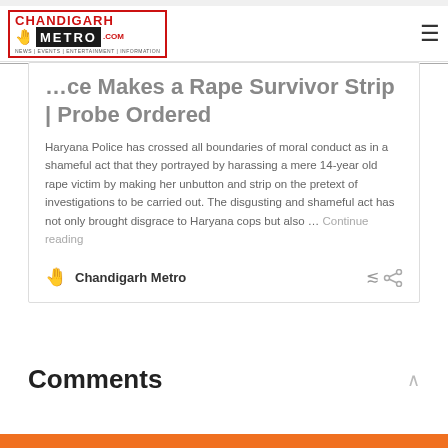Chandigarh Metro — NEWS | EVENTS | ENTERTAINMENT | INFORMATION
…ce Makes a Rape Survivor Strip | Probe Ordered
Haryana Police has crossed all boundaries of moral conduct as in a shameful act that they portrayed by harassing a mere 14-year old rape victim by making her unbutton and strip on the pretext of investigations to be carried out. The disgusting and shameful act has not only brought disgrace to Haryana cops but also … Continue reading
Chandigarh Metro
Comments